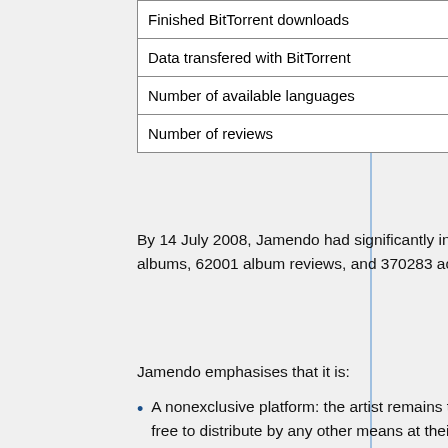| Finished BitTorrent downloads | 2310084 |
| Data transfered with BitTorrent | 106.74 TB |
| Number of available languages | 26 |
| Number of reviews | 54288 |
By 14 July 2008, Jamendo had significantly increased their offerings, in featuring 10443 albums, 62001 album reviews, and 370283 active members.
Jamendo emphasises that it is:
A nonexclusive platform: the artist remains the owner of their music, which they are free to distribute by any other means at their disposal. Jamendo maintains a strong commitment to complementing